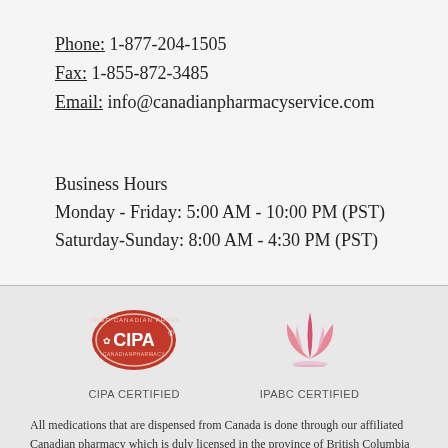Phone: 1-877-204-1505
Fax: 1-855-872-3485
Email: info@canadianpharmacyservice.com
Business Hours
Monday - Friday: 5:00 AM - 10:00 PM (PST)
Saturday-Sunday: 8:00 AM - 4:30 PM (PST)
[Figure (logo): CIPA Certified logo - red oval badge with CIPA text]
CIPA CERTIFIED
[Figure (logo): IPABC Certified logo - pink/red stylized plant/leaf icon]
IPABC CERTIFIED
All medications that are dispensed from Canada is done through our affiliated Canadian pharmacy which is duly licensed in the province of British Columbia by the College of Pharmacists of British Columbia.